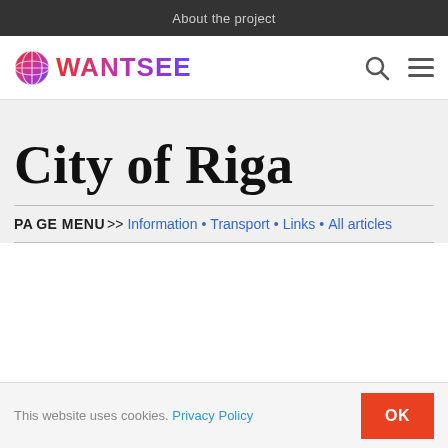About the project
[Figure (logo): WANTSEE logo with globe icon and colorful gradient text]
City of Riga
PAGE MENU >> Information · Transport · Links · All articles
This website uses cookies. Privacy Policy OK